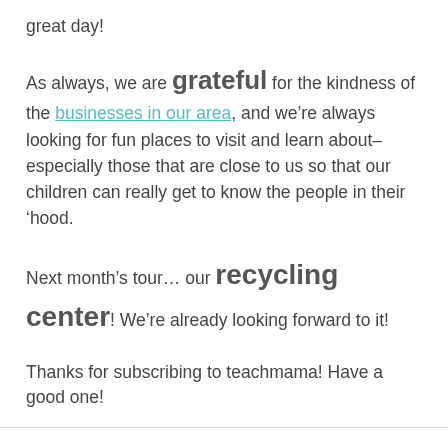great day!
As always, we are grateful for the kindness of the businesses in our area, and we’re always looking for fun places to visit and learn about–especially those that are close to us so that our children can really get to know the people in their ‘hood.
Next month’s tour… our recycling center! We’re already looking forward to it!
Thanks for subscribing to teachmama! Have a good one!